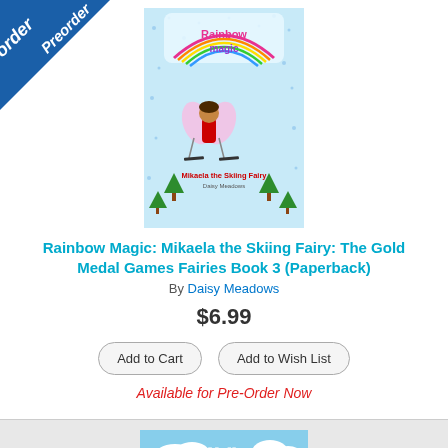[Figure (illustration): Preorder banner ribbon in blue on top-left corner with white italic text 'Preorder']
[Figure (illustration): Book cover: Rainbow Magic - Mikaela the Skiing Fairy, showing a fairy in red ski outfit with rainbow magic logo at top, blue sparkly background with trees]
Rainbow Magic: Mikaela the Skiing Fairy: The Gold Medal Games Fairies Book 3 (Paperback)
By Daisy Meadows
$6.99
Add to Cart
Add to Wish List
Available for Pre-Order Now
[Figure (illustration): Book cover: Wally Raccoon's Farmyard Olympics - Winter Olympics, showing a raccoon in a yellow suit with goggles, blue sky and snowy background]